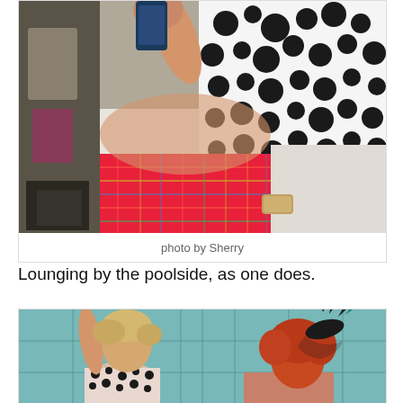[Figure (photo): A person lounging, wearing a black-and-white patterned top and colorful plaid pants, sitting on what appears to be a white surface. Background shows various items. Person holding a phone.]
photo by Sherry
Lounging by the poolside, as one does.
[Figure (photo): Two people posing against a teal tile background. Left person has short blonde hair and is wearing a patterned outfit. Right person has red hair and is wearing a black feathered fascinator/hat.]